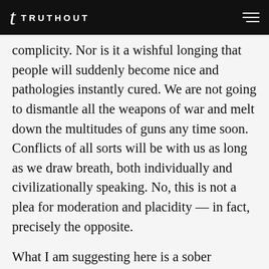TRUTHOUT
complicity. Nor is it a wishful longing that people will suddenly become nice and pathologies instantly cured. We are not going to dismantle all the weapons of war and melt down the multitudes of guns any time soon. Conflicts of all sorts will be with us as long as we draw breath, both individually and civilizationally speaking. No, this is not a plea for moderation and placidity — in fact, precisely the opposite.
What I am suggesting here is a sober assessment of the task and an honest appraisal of our shared